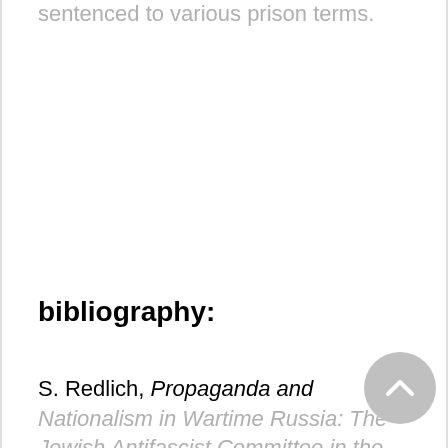sentenced to various prison terms.
bibliography:
S. Redlich, Propaganda and Nationalism in Wartime Russia: The Jewish Antifascist Committee in the USSR,